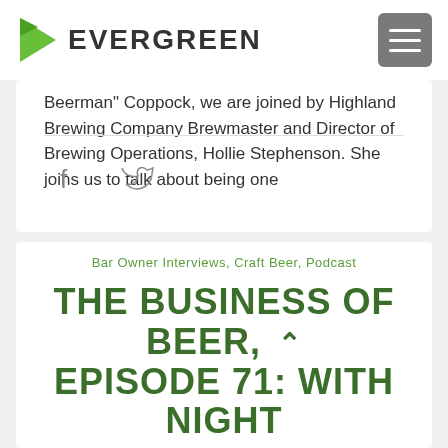EVERGREEN
Beerman" Coppock, we are joined by Highland Brewing Company Brewmaster and Director of Brewing Operations, Hollie Stephenson. She joins us to talk about being one
Social sharing icons: Facebook, Twitter
Bar Owner Interviews, Craft Beer, Podcast
THE BUSINESS OF BEER, EPISODE 71: WITH NIGHT